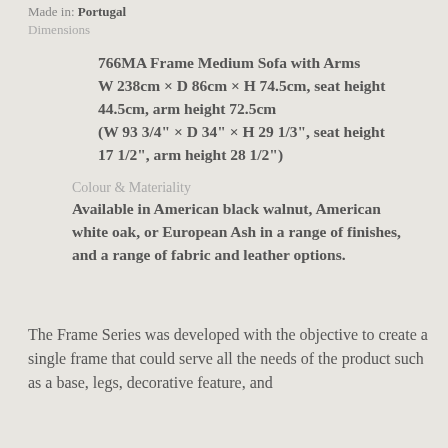Made in: Portugal
Dimensions
766MA Frame Medium Sofa with Arms W 238cm × D 86cm × H 74.5cm, seat height 44.5cm, arm height 72.5cm (W 93 3/4" × D 34" × H 29 1/3", seat height 17 1/2", arm height 28 1/2")
Colour & Materiality  Available in American black walnut, American white oak, or European Ash in a range of finishes, and a range of fabric and leather options.
The Frame Series was developed with the objective to create a single frame that could serve all the needs of the product such as a base, legs, decorative feature, and